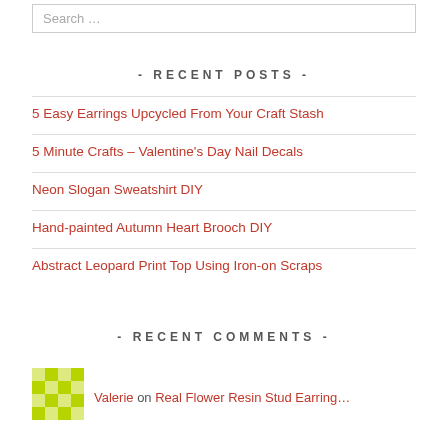Search …
- RECENT POSTS -
5 Easy Earrings Upcycled From Your Craft Stash
5 Minute Crafts – Valentine's Day Nail Decals
Neon Slogan Sweatshirt DIY
Hand-painted Autumn Heart Brooch DIY
Abstract Leopard Print Top Using Iron-on Scraps
- RECENT COMMENTS -
Valerie on Real Flower Resin Stud Earring…